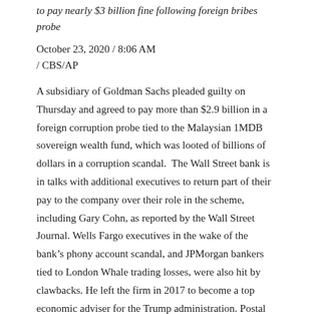to pay nearly $3 billion fine following foreign bribes probe
October 23, 2020 / 8:06 AM
/ CBS/AP
A subsidiary of Goldman Sachs pleaded guilty on Thursday and agreed to pay more than $2.9 billion in a foreign corruption probe tied to the Malaysian 1MDB sovereign wealth fund, which was looted of billions of dollars in a corruption scandal.  The Wall Street bank is in talks with additional executives to return part of their pay to the company over their role in the scheme, including Gary Cohn, as reported by the Wall Street Journal. Wells Fargo executives in the wake of the bank’s phony account scandal, and JPMorgan bankers tied to London Whale trading losses, were also hit by clawbacks. He left the firm in 2017 to become a top economic adviser for the Trump administration. Postal Service awards $5 million contract to DeJoy’s former company
California court says Uber, Lyft drivers are employees, not contractors
Expensify emails its customers telling them to vote for Biden
GM…